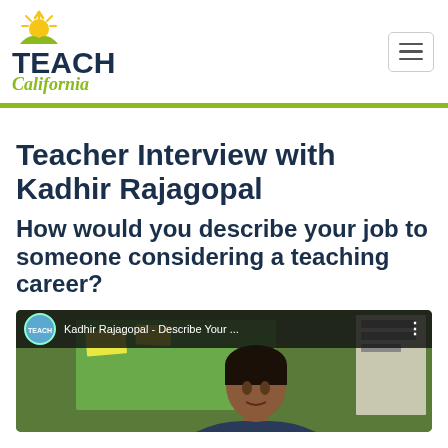[Figure (logo): Teach California logo with sun graphic, bold TEACH text and italic California script in green]
Teacher Interview with Kadhir Rajagopal
How would you describe your job to someone considering a teaching career?
[Figure (screenshot): YouTube video thumbnail showing Kadhir Rajagopal in a classroom, video title 'Kadhir Rajagopal - Describe Your ...' with Teach California channel icon]